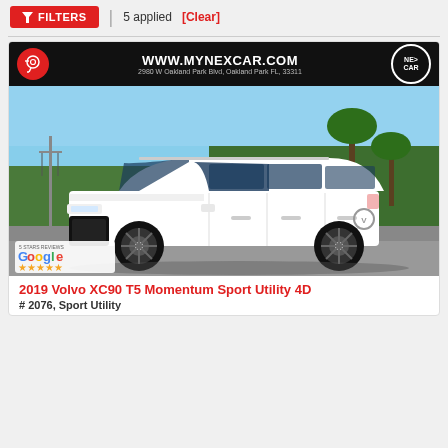FILTERS | 5 applied [Clear]
[Figure (photo): White 2019 Volvo XC90 T5 Momentum Sport Utility SUV parked on a road with green trees in background. Dealer banner at top shows WWW.MYNEXCAR.COM, 2980 W Oakland Park Blvd, Oakland Park FL 33311, and NEX CAR logo. Google 5 Stars Reviews badge with star rating at bottom left of image.]
2019 Volvo XC90 T5 Momentum Sport Utility 4D
# 2076, Sport Utility